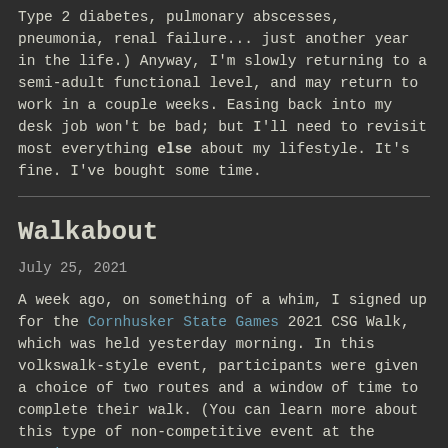Type 2 diabetes, pulmonary abscesses, pneumonia, renal failure... just another year in the life.) Anyway, I'm slowly returning to a semi-adult functional level, and may return to work in a couple weeks. Easing back into my desk job won't be bad; but I'll need to revisit most everything else about my lifestyle. It's fine. I've bought some time.
Walkabout
July 25, 2021
A week ago, on something of a whim, I signed up for the Cornhusker State Games 2021 CSG Walk, which was held yesterday morning. In this volkswalk-style event, participants were given a choice of two routes and a window of time to complete their walk. (You can learn more about this type of non-competitive event at the American Volksport Association.) I chose the longer route, picture...